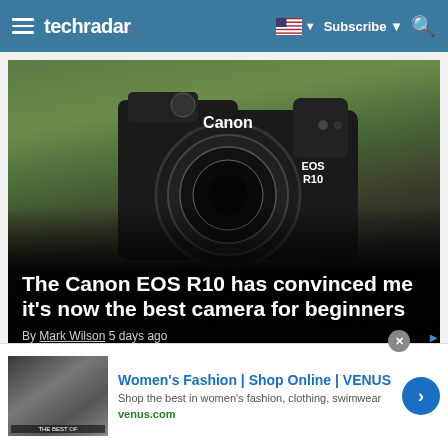techradar
[Figure (photo): Canon EOS R10 camera close-up photo with green bokeh background]
The Canon EOS R10 has convinced me it's now the best camera for beginners
By Mark Wilson 5 days ago
[Figure (photo): Second article preview image with blue background]
Women's Fashion | Shop Online | VENUS
Shop the best in women's fashion, clothing, swimwear
venus.com